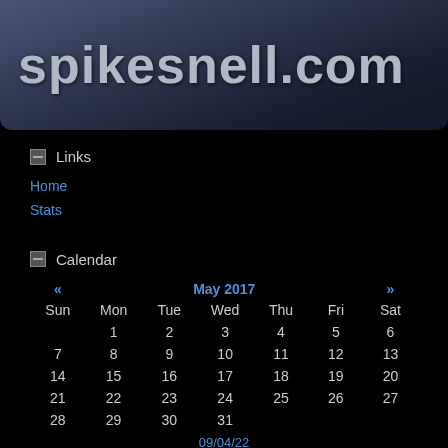spikesnell.com
Links
Home
Stats
Calendar
| Sun | Mon | Tue | Wed | Thu | Fri | Sat |
| --- | --- | --- | --- | --- | --- | --- |
|  | 1 | 2 | 3 | 4 | 5 | 6 |
| 7 | 8 | 9 | 10 | 11 | 12 | 13 |
| 14 | 15 | 16 | 17 | 18 | 19 | 20 |
| 21 | 22 | 23 | 24 | 25 | 26 | 27 |
| 28 | 29 | 30 | 31 |  |  |  |
09/04/22